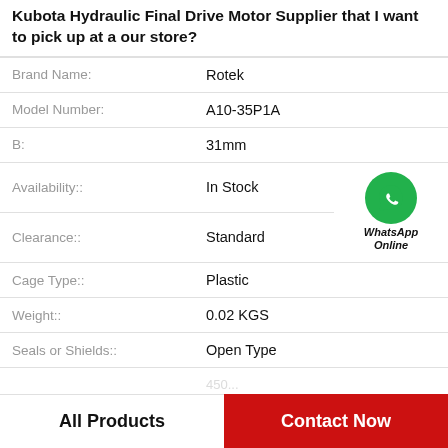Kubota Hydraulic Final Drive Motor Supplier that I want to pick up at a our store?
| Attribute | Value |
| --- | --- |
| Brand Name: | Rotek |
| Model Number: | A10-35P1A |
| B: | 31mm |
| Availability:: | In Stock |
| Clearance:: | Standard |
| Cage Type:: | Plastic |
| Weight:: | 0.02 KGS |
| Seals or Shields:: | Open Type |
[Figure (logo): WhatsApp Online green circle icon with phone handset, labeled WhatsApp Online]
All Products
Contact Now